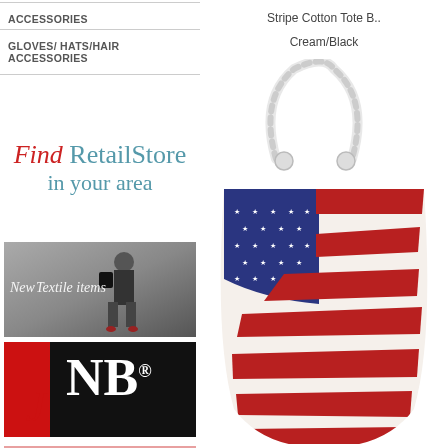ACCESSORIES
GLOVES/ HATS/HAIR ACCESSORIES
Find RetailStore in your area
[Figure (photo): New Textile items promotional banner with a model wearing heels and holding a black bag]
[Figure (logo): JNB brand logo with red and black background, white letters J, N, B with registered trademark symbol]
[Figure (photo): Partial view of a colorful image at the bottom]
Stripe Cotton Tote B..
Cream/Black
[Figure (photo): American flag pattern tote bag with white rope handles, featuring stars and stripes design in red, white, and blue]